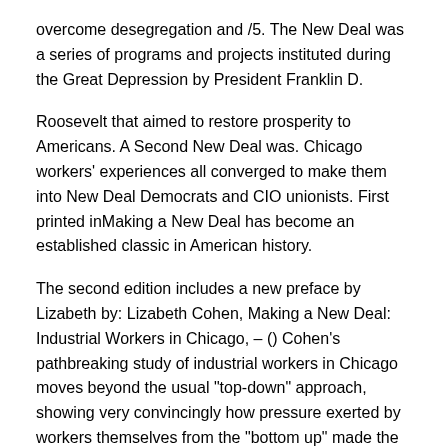overcome desegregation and /5. The New Deal was a series of programs and projects instituted during the Great Depression by President Franklin D.
Roosevelt that aimed to restore prosperity to Americans. A Second New Deal was. Chicago workers' experiences all converged to make them into New Deal Democrats and CIO unionists. First printed inMaking a New Deal has become an established classic in American history.
The second edition includes a new preface by Lizabeth by: Lizabeth Cohen, Making a New Deal: Industrial Workers in Chicago, – () Cohen's pathbreaking study of industrial workers in Chicago moves beyond the usual "top-down" approach, showing very convincingly how pressure exerted by workers themselves from the "bottom up" made the New Deal a reality.
Steve Fraser and Gary Gerstle, eds. Making a New Deal was an engrossing study concerning the working class of Chicago during the Great Depression.